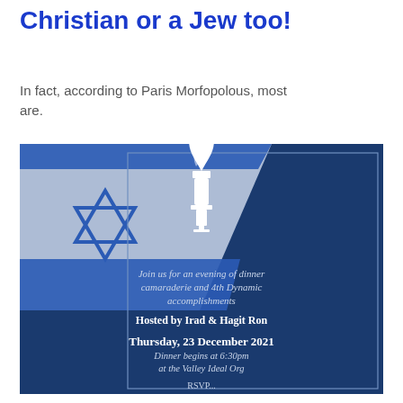Christian or a Jew too!
In fact, according to Paris Morfopolous, most are.
[Figure (illustration): Dark navy blue event invitation card with Israeli flag imagery and a torch icon. Text reads: 'Join us for an evening of dinner camaraderie and 4th Dynamic accomplishments. Hosted by Irad & Hagit Ron. Thursday, 23 December 2021. Dinner begins at 6:30pm at the Valley Ideal Org. RSVP...']